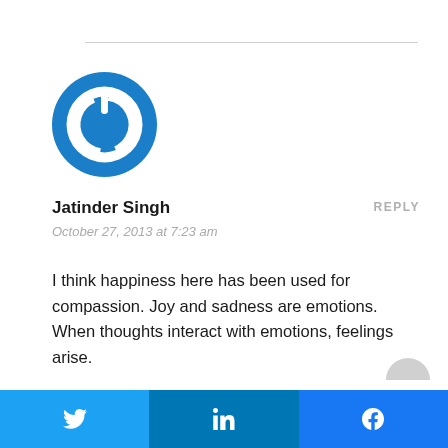[Figure (logo): Blue circular power button icon / avatar placeholder]
Jatinder Singh
REPLY
October 27, 2013 at 7:23 am
I think happiness here has been used for compassion. Joy and sadness are emotions. When thoughts interact with emotions, feelings arise.
[Figure (infographic): Social share bar with Twitter, LinkedIn, and Facebook buttons]